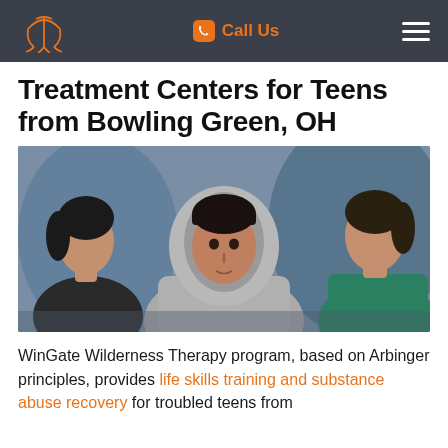Call Us
Treatment Centers for Teens from Bowling Green, OH
[Figure (photo): Three teenagers standing together outdoors; the central teen is wearing a gray hoodie and looking at the camera, with two others visible in profile on either side.]
WinGate Wilderness Therapy program, based on Arbinger principles, provides life skills training and substance abuse recovery for troubled teens from